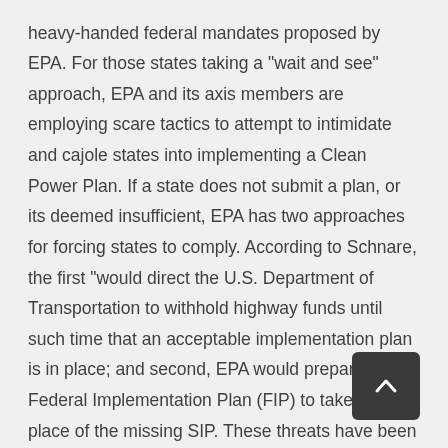Generally, states are taking a negative view of these heavy-handed federal mandates proposed by EPA. For those states taking a "wait and see" approach, EPA and its axis members are employing scare tactics to attempt to intimidate and cajole states into implementing a Clean Power Plan. If a state does not submit a plan, or its deemed insufficient, EPA has two approaches for forcing states to comply. According to Schnare, the first "would direct the U.S. Department of Transportation to withhold highway funds until such time that an acceptable implementation plan is in place; and second, EPA would prepare a Federal Implementation Plan (FIP) to take the place of the missing SIP. These threats have been used before and generally cause shock and awe sufficient to scare states into developing a SIP, even when it is not in their interests not to do so."